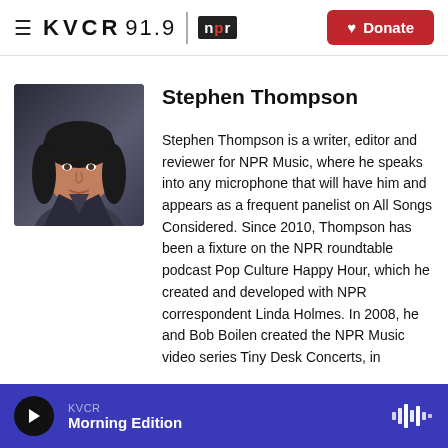KVCR 91.9 NPR | Donate
[Figure (photo): Headshot photo of Stephen Thompson, a man with dark shoulder-length hair, wearing a dark jacket, against a dark background]
Stephen Thompson
Stephen Thompson is a writer, editor and reviewer for NPR Music, where he speaks into any microphone that will have him and appears as a frequent panelist on All Songs Considered. Since 2010, Thompson has been a fixture on the NPR roundtable podcast Pop Culture Happy Hour, which he created and developed with NPR correspondent Linda Holmes. In 2008, he and Bob Boilen created the NPR Music video series Tiny Desk Concerts, in
KVCR
Morning Edition